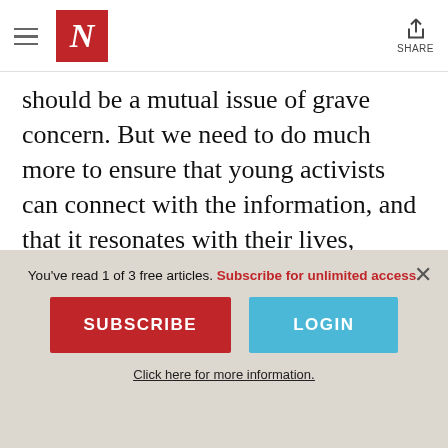The Nation — N logo and SHARE button
should be a mutual issue of grave concern. But we need to do much more to ensure that young activists can connect with the information, and that it resonates with their lives, provides community, and allows their creative agency to flourish.
Making activism accessible
You've read 1 of 3 free articles. Subscribe for unlimited access.
SUBSCRIBE
LOGIN
Click here for more information.